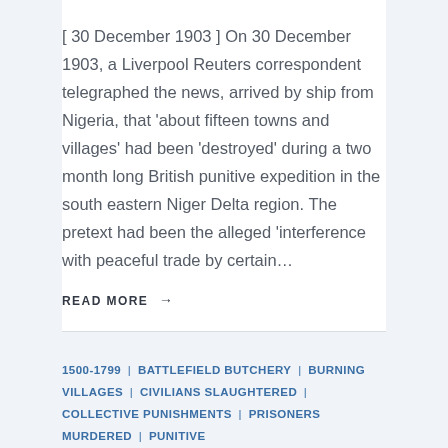[ 30 December 1903 ] On 30 December 1903, a Liverpool Reuters correspondent telegraphed the news, arrived by ship from Nigeria, that 'about fifteen towns and villages' had been 'destroyed' during a two month long British punitive expedition in the south eastern Niger Delta region. The pretext had been the alleged 'interference with peaceful trade by certain…
READ MORE →
1500-1799 | BATTLEFIELD BUTCHERY | BURNING VILLAGES | CIVILIANS SLAUGHTERED | COLLECTIVE PUNISHMENTS | PRISONERS MURDERED | PUNITIVE OPERATIONS | SCOTLAND | WOUNDED KILLED